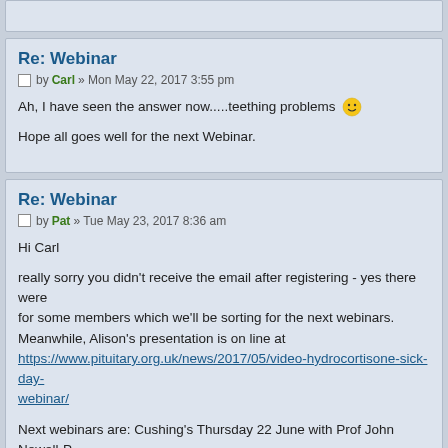Re: Webinar
by Carl » Mon May 22, 2017 3:55 pm
Ah, I have seen the answer now.....teething problems 😀

Hope all goes well for the next Webinar.
Re: Webinar
by Pat » Tue May 23, 2017 8:36 am
Hi Carl

really sorry you didn't receive the email after registering - yes there were for some members which we'll be sorting for the next webinars. Meanwhile, Alison's presentation is on line at https://www.pituitary.org.uk/news/2017/05/video-hydrocortisone-sick-day-webinar/

Next webinars are: Cushing's Thursday 22 June with Prof John Newell-P Acromegaly end of July with Prof Peter Trainer
These will be advertised in good time on the web and Facebook.